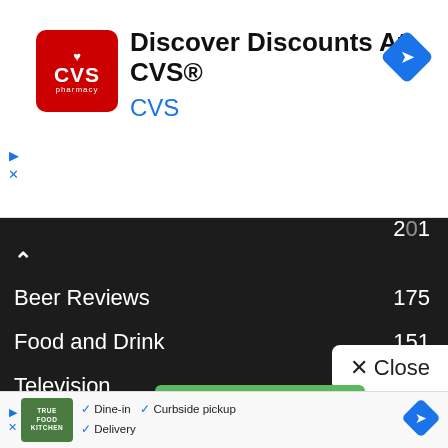[Figure (screenshot): CVS Pharmacy advertisement banner with red logo, text 'Discover Discounts At CVS®' and 'CVS' in blue, with navigation diamond icon]
Beer Reviews  175
Food and Drink  151
Television  134
Culture  130
Recipes  124
× Close
[Figure (screenshot): True Food Kitchen advertisement banner with logo, checkmarks for Dine-in, Curbside pickup, Delivery, and navigation diamond icon]